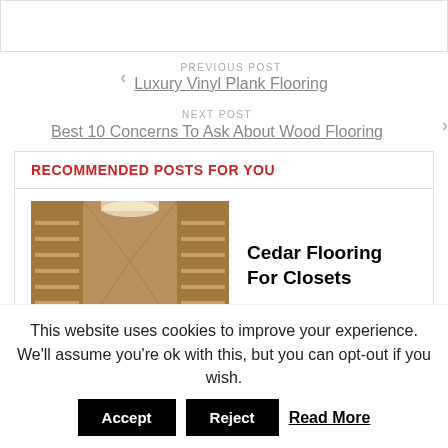[Figure (other): Top image placeholder bar]
PREVIOUS POST
Luxury Vinyl Plank Flooring
NEXT POST
Best 10 Concerns To Ask About Wood Flooring
RECOMMENDED POSTS FOR YOU
[Figure (photo): Closet with cedar wood flooring and shelving]
Cedar Flooring For Closets
This website uses cookies to improve your experience. We'll assume you're ok with this, but you can opt-out if you wish.
Accept  Reject  Read More